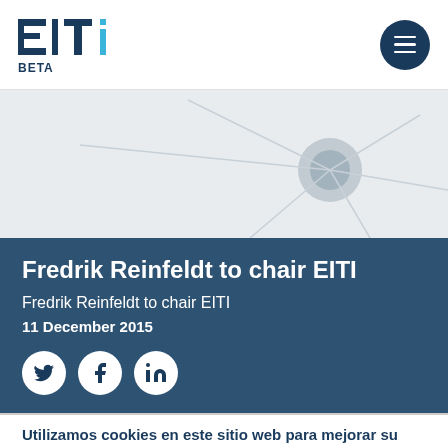[Figure (logo): EITI logo with 'BETA' label beneath, navy and cyan colored letters]
[Figure (illustration): Light grey geometric network/node illustration on light grey background]
Fredrik Reinfeldt to chair EITI
Fredrik Reinfeldt to chair EITI
11 December 2015
[Figure (infographic): Social media share icons: Twitter, Facebook, LinkedIn — white icons on white circles against dark blue background]
Utilizamos cookies en este sitio web para mejorar su experiencia de usuario.